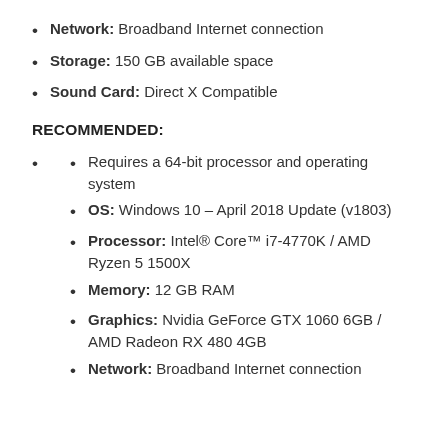Network: Broadband Internet connection
Storage: 150 GB available space
Sound Card: Direct X Compatible
RECOMMENDED:
Requires a 64-bit processor and operating system
OS: Windows 10 – April 2018 Update (v1803)
Processor: Intel® Core™ i7-4770K / AMD Ryzen 5 1500X
Memory: 12 GB RAM
Graphics: Nvidia GeForce GTX 1060 6GB / AMD Radeon RX 480 4GB
Network: Broadband Internet connection